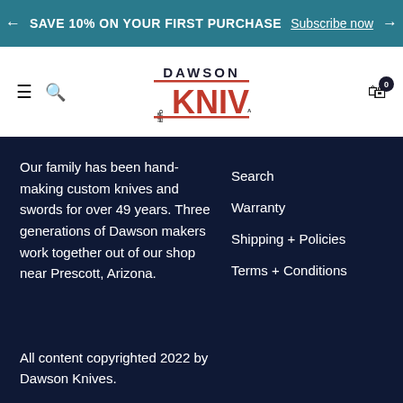← SAVE 10% ON YOUR FIRST PURCHASE Subscribe now →
[Figure (logo): Dawson Knives logo with eagle emblem]
Our family has been hand-making custom knives and swords for over 49 years. Three generations of Dawson makers work together out of our shop near Prescott, Arizona.
Search
Warranty
Shipping + Policies
Terms + Conditions
All content copyrighted 2022 by Dawson Knives.